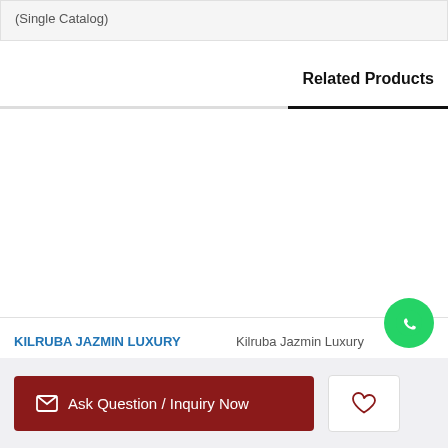(Single Catalog)
Related Products
[Figure (other): Product image carousel area showing related products, mostly blank/white product image slots]
KILRUBA JAZMIN LUXURY
Kilruba Jazmin Luxury
Ask Question / Inquiry Now